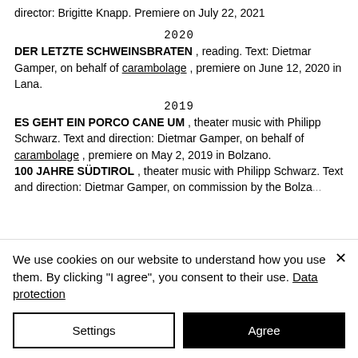director: Brigitte Knapp. Premiere on July 22, 2021
2020
DER LETZTE SCHWEINSBRATEN , reading. Text: Dietmar Gamper, on behalf of carambolage , premiere on June 12, 2020 in Lana.
2019
ES GEHT EIN PORCO CANE UM , theater music with Philipp Schwarz. Text and direction: Dietmar Gamper, on behalf of carambolage , premiere on May 2, 2019 in Bolzano.
100 JAHRE SÜDTIROL , theater music with Philipp Schwarz. Text and direction: Dietmar Gamper, on commission by the Bolzano...
We use cookies on our website to understand how you use them. By clicking &quot;I agree&quot;, you consent to their use. Data protection
Settings
Agree